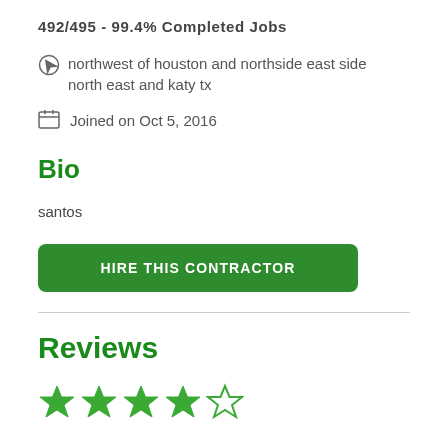492/495 - 99.4% Completed Jobs
northwest of houston and northside east side north east and katy tx
Joined on Oct 5, 2016
Bio
santos
HIRE THIS CONTRACTOR
Reviews
[Figure (other): 4 out of 5 stars rating displayed as green star icons]